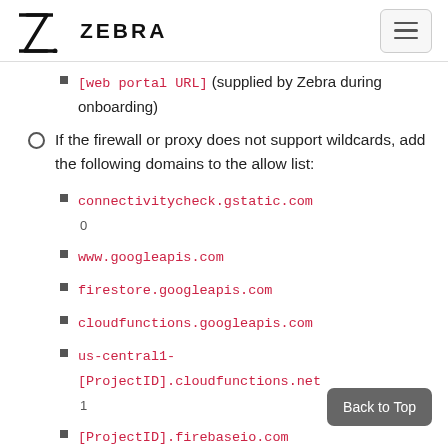ZEBRA
[web portal URL] (supplied by Zebra during onboarding)
If the firewall or proxy does not support wildcards, add the following domains to the allow list:
connectivitycheck.gstatic.com 0
www.googleapis.com
firestore.googleapis.com
cloudfunctions.googleapis.com
us-central1-[ProjectID].cloudfunctions.net 1
[ProjectID].firebaseio.com 1